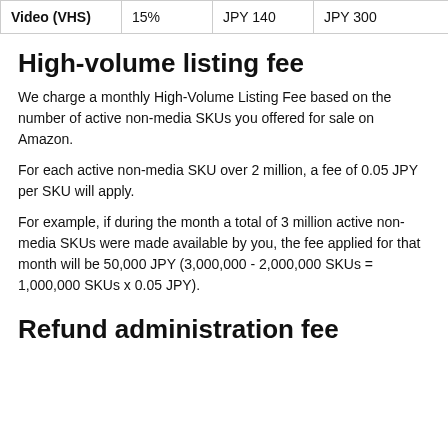| Video (VHS) | 15% | JPY 140 | JPY 300 | JPY |
High-volume listing fee
We charge a monthly High-Volume Listing Fee based on the number of active non-media SKUs you offered for sale on Amazon.
For each active non-media SKU over 2 million, a fee of 0.05 JPY per SKU will apply.
For example, if during the month a total of 3 million active non-media SKUs were made available by you, the fee applied for that month will be 50,000 JPY (3,000,000 - 2,000,000 SKUs = 1,000,000 SKUs x 0.05 JPY).
Refund administration fee